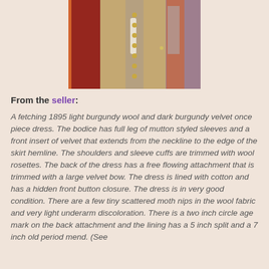[Figure (photo): Close-up photo of an 1895 burgundy wool and dark burgundy velvet dress showing the front bodice with gold buttons, orange/rust colored sleeves, and velvet insert panel.]
From the seller:
A fetching 1895 light burgundy wool and dark burgundy velvet once piece dress. The bodice has full leg of mutton styled sleeves and a front insert of velvet that extends from the neckline to the edge of the skirt hemline. The shoulders and sleeve cuffs are trimmed with wool rosettes. The back of the dress has a free flowing attachment that is trimmed with a large velvet bow. The dress is lined with cotton and has a hidden front button closure. The dress is in very good condition. There are a few tiny scattered moth nips in the wool fabric and very light underarm discoloration. There is a two inch circle age mark on the back attachment and the lining has a 5 inch split and a 7 inch old period mend. (See